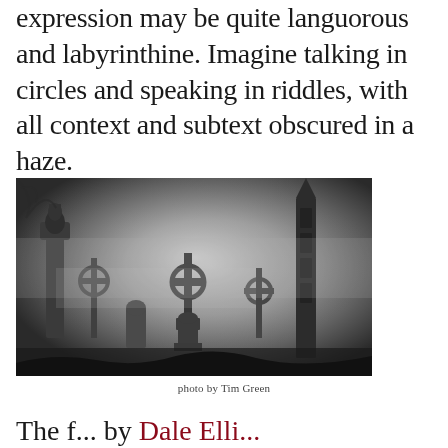expression may be quite languorous and labyrinthine. Imagine talking in circles and speaking in riddles, with all context and subtext obscured in a haze.
[Figure (photo): Black and white foggy graveyard photo showing multiple tombstones and crosses shrouded in mist, photographed by Tim Green]
photo by Tim Green
The f... by Dale Elli...